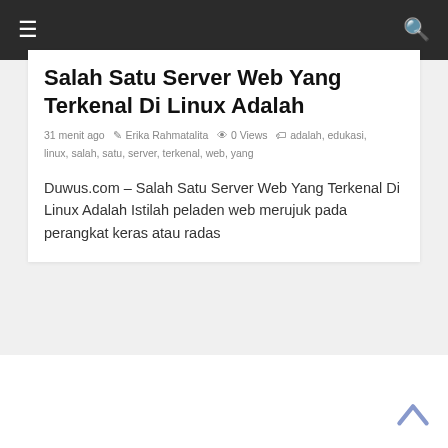☰  🔍
Salah Satu Server Web Yang Terkenal Di Linux Adalah
31 menit ago  Erika Rahmatalita  0 Views  adalah, edukasi, linux, salah, satu, server, terkenal, web, yang
Duwus.com – Salah Satu Server Web Yang Terkenal Di Linux Adalah Istilah peladen web merujuk pada perangkat keras atau radas